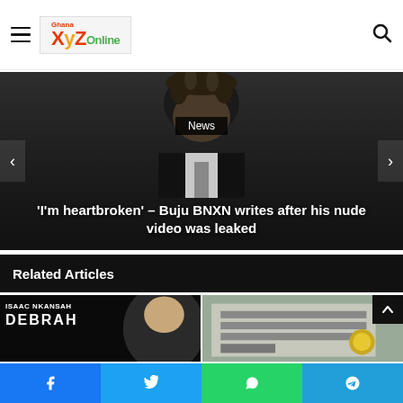GhanaXYZOnline - hamburger menu and search icon
[Figure (screenshot): Hero image of Buju BNXN in a dark suit against dark background, with News badge and article title overlay]
Related Articles
[Figure (screenshot): Isaac Nkansah Debrah - article thumbnail left]
[Figure (screenshot): Building exterior - article thumbnail right]
Social share buttons: Facebook, Twitter, WhatsApp, Telegram